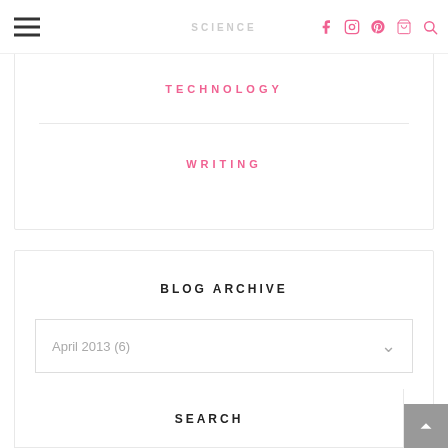SCIENCE [site title with social icons]
TECHNOLOGY
WRITING
BLOG ARCHIVE
April 2013 (6)
SEARCH